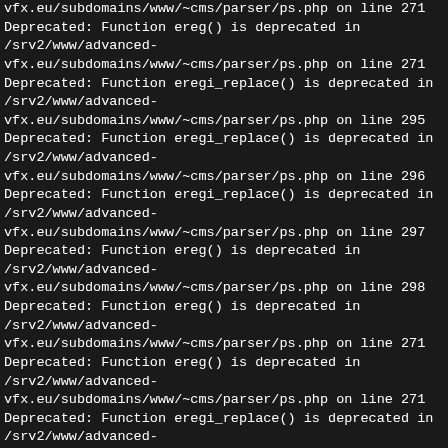vfx.eu/subdomains/www/~cms/parser/ps.php on line 271 Deprecated: Function ereg() is deprecated in /srv2/www/advanced-vfx.eu/subdomains/www/~cms/parser/ps.php on line 271 Deprecated: Function eregi_replace() is deprecated in /srv2/www/advanced-vfx.eu/subdomains/www/~cms/parser/ps.php on line 295 Deprecated: Function eregi_replace() is deprecated in /srv2/www/advanced-vfx.eu/subdomains/www/~cms/parser/ps.php on line 296 Deprecated: Function eregi_replace() is deprecated in /srv2/www/advanced-vfx.eu/subdomains/www/~cms/parser/ps.php on line 297 Deprecated: Function ereg() is deprecated in /srv2/www/advanced-vfx.eu/subdomains/www/~cms/parser/ps.php on line 298 Deprecated: Function ereg() is deprecated in /srv2/www/advanced-vfx.eu/subdomains/www/~cms/parser/ps.php on line 271 Deprecated: Function ereg() is deprecated in /srv2/www/advanced-vfx.eu/subdomains/www/~cms/parser/ps.php on line 271 Deprecated: Function eregi_replace() is deprecated in /srv2/www/advanced-vfx.eu/subdomains/www/~cms/parser/ps.php on line 271 Deprecated: Function eregi_replace() is deprecated in /srv2/www/advanced-vfx.eu/subdomains/www/~cms/parser/ps.php on line 295 Deprecated: Function eregi_replace() is deprecated in /srv2/www/advanced-vfx.eu/subdomains/www/~cms/parser/ps.php on line 296 Deprecated: Function eregi_replace() is deprecated in /srv2/www/advanced-vfx.eu/subdomains/www/~cms/parser/ps.php on line 297 Deprecated: Function eregi_replace() is deprecated in /srv2/www/advanced-